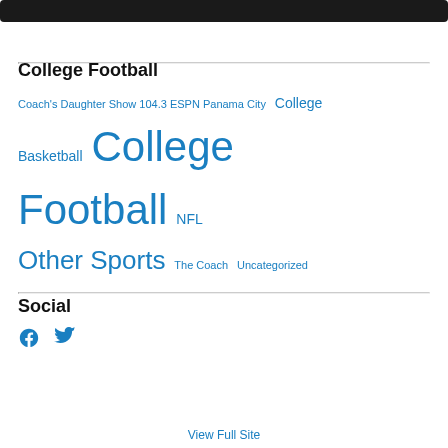[Figure (photo): Dark image bar at top of page]
College Football
Coach's Daughter Show 104.3 ESPN Panama City  College Basketball  College Football  NFL  Other Sports  The Coach  Uncategorized
Social
[Figure (illustration): Facebook and Twitter social media icons in blue]
View Full Site